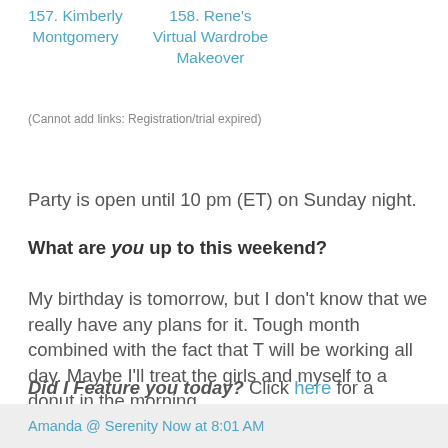157. Kimberly Montgomery
158. Rene's Virtual Wardrobe Makeover
(Cannot add links: Registration/trial expired)
Party is open until 10 pm (ET) on Sunday night.
What are you up to this weekend?
My birthday is tomorrow, but I don't know that we really have any plans for it. Tough month combined with the fact that T will be working all day. Maybe I'll treat the girls and myself to a donut in the morning.
Did I Feature you today? Click here for a "featured" button for your blog post or sidebar.
Amanda @ Serenity Now at 8:01 AM